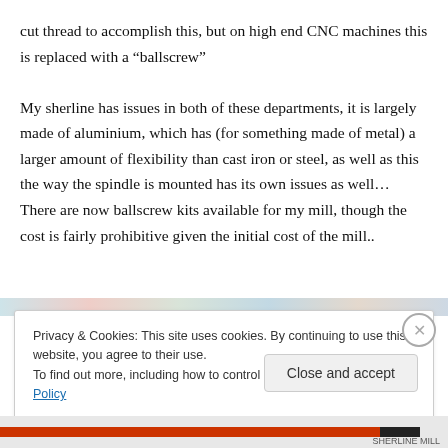cut thread to accomplish this, but on high end CNC machines this is replaced with a “ballscrew”
My sherline has issues in both of these departments, it is largely made of aluminium, which has (for something made of metal) a larger amount of flexibility than cast iron or steel, as well as this the way the spindle is mounted has its own issues as well… There are now ballscrew kits available for my mill, though the cost is fairly prohibitive given the initial cost of the mill..
[Figure (photo): Partial view of a machine or equipment image strip, mostly obscured by the cookie consent banner]
Privacy & Cookies: This site uses cookies. By continuing to use this website, you agree to their use.
To find out more, including how to control cookies, see here: Cookie Policy